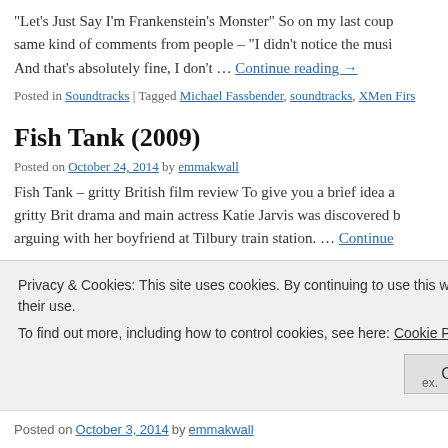“Let’s Just Say I’m Frankenstein’s Monster” So on my last coup same kind of comments from people – “I didn’t notice the musi And that’s absolutely fine, I don’t … Continue reading →
Posted in Soundtracks | Tagged Michael Fassbender, soundtracks, XMen Firs
Fish Tank (2009)
Posted on October 24, 2014 by emmakwall
Fish Tank – gritty British film review To give you a brief idea a gritty Brit drama and main actress Katie Jarvis was discovered b arguing with her boyfriend at Tilbury train station. … Continue
Privacy & Cookies: This site uses cookies. By continuing to use this website, you agree to their use.
To find out more, including how to control cookies, see here: Cookie Policy
Close and accept
Posted on October 3, 2014 by emmakwall